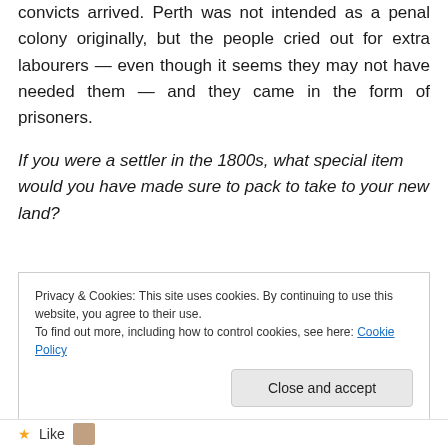convicts arrived. Perth was not intended as a penal colony originally, but the people cried out for extra labourers — even though it seems they may not have needed them — and they came in the form of prisoners.
If you were a settler in the 1800s, what special item would you have made sure to pack to take to your new land?
Privacy & Cookies: This site uses cookies. By continuing to use this website, you agree to their use.
To find out more, including how to control cookies, see here: Cookie Policy